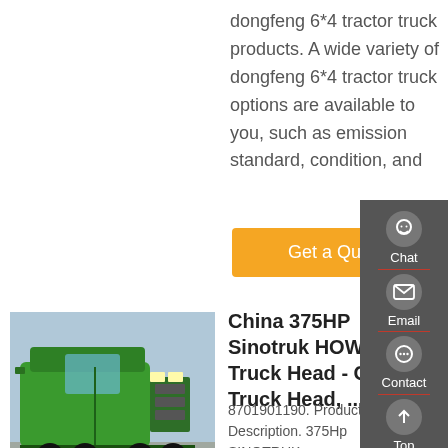dongfeng 6*4 tractor truck products. A wide variety of dongfeng 6*4 tractor truck options are available to you, such as emission standard, condition, and
Get a Quote
[Figure (photo): Green Sinotruk HOWO 6x4 truck head photographed outdoors]
China 375HP Sinotruk HOWO 6*4 Truck Head - China Truck Head, ...
8701901190. Product Description. 375Hp SINOTRUK